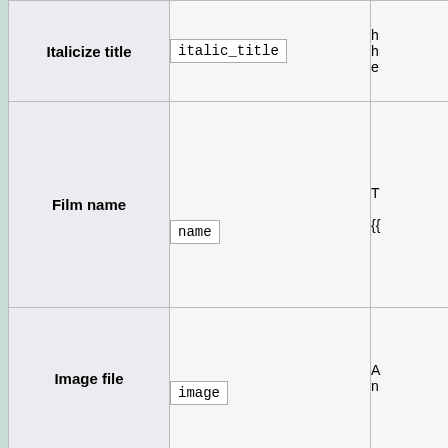| Parameter | Code | Description |
| --- | --- | --- |
| Italicize title | italic_title | ha... en... |
| Film name | name | Th... {{l... |
| Image file | image | A... na... |
| Image size | image_size | no... |
| Alt text | alt | Al... im... pl... |